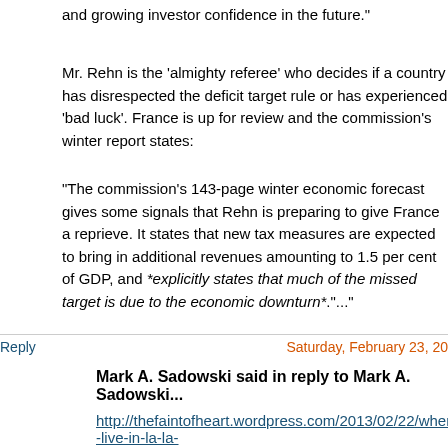and growing investor confidence in the future."
Mr. Rehn is the 'almighty referee' who decides if a country has disrespected the deficit target rule or has experienced 'bad luck'. France is up for review and the commission's winter report states:
"The commission's 143-page winter economic forecast gives some signals that Rehn is preparing to give France a reprieve. It states that new tax measures are expected to bring in additional revenues amounting to 1.5 per cent of GDP, and *explicitly states that much of the missed target is due to the economic downturn*."..."
Reply
Saturday, February 23, 20
Mark A. Sadowski said in reply to Mark A. Sadowski...
http://thefaintofheart.wordpress.com/2013/02/22/when-you-live-in-la-la-land-anythings-possible/
February 22, 2013
When you live in 'la la land', anything´s possible
By Marcus Nunes
"..."Reprieves" are the norm: